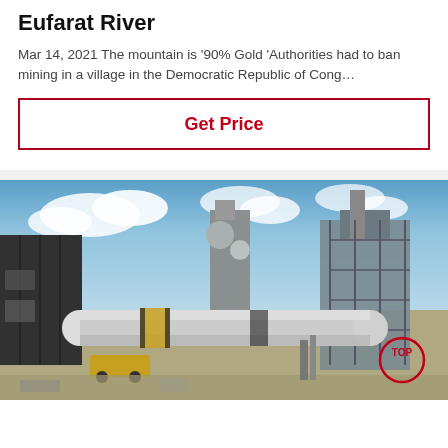Eufarat River
Mar 14, 2021 The mountain is '90% Gold 'Authorities had to ban mining in a village in the Democratic Republic of Cong…
Get Price
[Figure (photo): Industrial mining facility showing large rotary kiln or cylindrical drum equipment with industrial buildings and scaffolding in the background under a blue sky with clouds. A circular 'TOP' badge is visible in the lower right corner.]